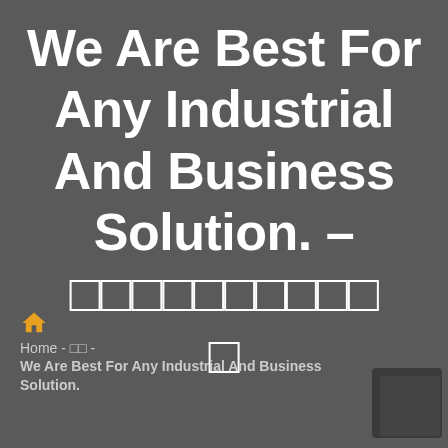We Are Best For Any Industrial And Business Solution. – □□□□□□□□□□□
Home - □□ - We Are Best For Any Industrial And Business Solution.